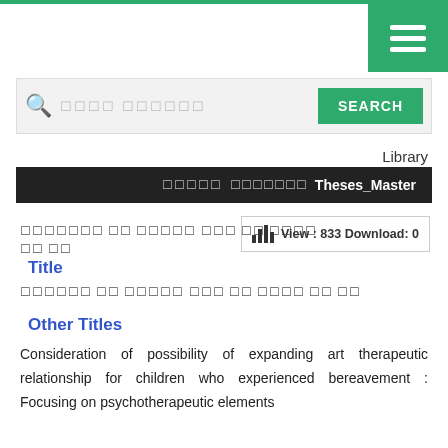[Figure (screenshot): Green top navigation bar with hamburger menu button on right]
[Figure (screenshot): Search bar with placeholder text and green SEARCH button]
Library
ㅁㅁㅁㅁㅁ  ㅁㅁㅁㅁㅁㅁㅁ  Theses_Master
ㅁㅁㅁㅁㅁㅁㅁ ㅁㅁ ㅁㅁㅁㅁ ㅁㅁㅁ ㅁㅁ ㅁㅁㅁ ㅁㅁ ㅁㅁ
View : 833 Download: 0
Title
ㅁㅁㅁㅁㅁㅁ ㅁㅁ ㅁㅁㅁㅁ ㅁㅁㅁ ㅁㅁ ㅁㅁㅁ ㅁㅁ ㅁㅁ
Other Titles
Consideration of possibility of expanding art therapeutic relationship for children who experienced bereavement : Focusing on psychotherapeutic elements